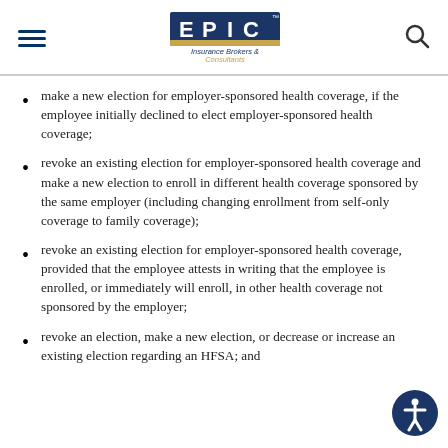EPIC Insurance Brokers & Consultants
make a new election for employer-sponsored health coverage, if the employee initially declined to elect employer-sponsored health coverage;
revoke an existing election for employer-sponsored health coverage and make a new election to enroll in different health coverage sponsored by the same employer (including changing enrollment from self-only coverage to family coverage);
revoke an existing election for employer-sponsored health coverage, provided that the employee attests in writing that the employee is enrolled, or immediately will enroll, in other health coverage not sponsored by the employer;
revoke an election, make a new election, or decrease or increase an existing election regarding an HFSA; and